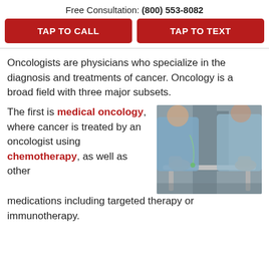Free Consultation: (800) 553-8082
TAP TO CALL
TAP TO TEXT
Oncologists are physicians who specialize in the diagnosis and treatments of cancer. Oncology is a broad field with three major subsets.
The first is medical oncology, where cancer is treated by an oncologist using chemotherapy, as well as other medications including targeted therapy or immunotherapy.
[Figure (photo): A healthcare provider or caregiver assisting an elderly patient using a walker, with IV tubing visible.]